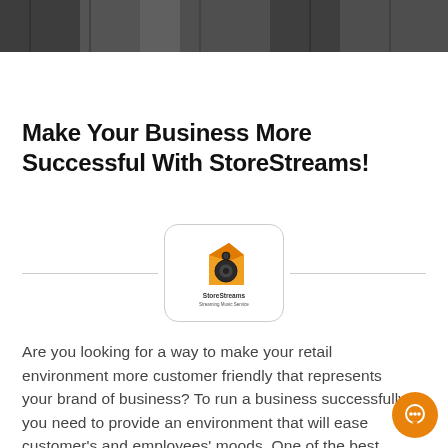[Figure (photo): Dark grayscale banner photo showing what appears to be clothing racks or retail environment at the top of the page]
Make Your Business More Successful With StoreStreams!
[Figure (logo): StoreStreams logo — orange speaker/building icon with 'StoreStreams Streaming Music Service' text below, inside a rounded rectangle border]
Are you looking for a way to make your retail environment more customer friendly that represents your brand of business? To run a business successfully you need to provide an environment that will ease customer's and employees' moods. One of the best ways to do this is to provide a wide diverse selection of music in your business that fits your customer demographic and business theme. The best music that your business needs can be found with StoreStreams – a music streaming